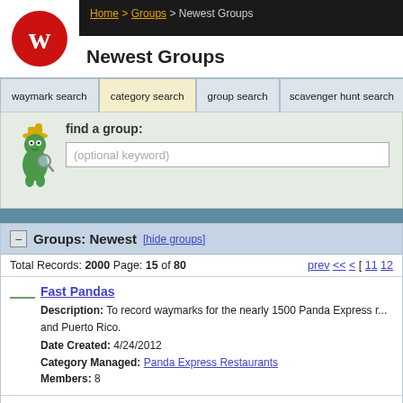Home > Groups > Newest Groups
Newest Groups
waymark search | category search | group search | scavenger hunt search
find a group: (optional keyword)
Groups: Newest [hide groups]
Total Records: 2000 Page: 15 of 80   prev << < [ 11 12...
Fast Pandas
Description: To record waymarks for the nearly 1500 Panda Express r... and Puerto Rico.
Date Created: 4/24/2012
Category Managed: Panda Express Restaurants
Members: 8
Pioneer Villagers
Description: This group will manage waymarks for Pioneer Villages a...